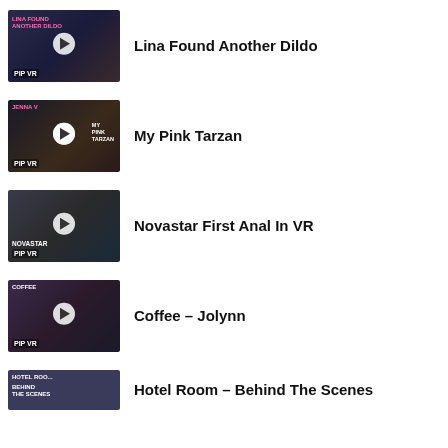[Figure (screenshot): Thumbnail for 'Lina Found Another Dildo' video with PIP VR label]
Lina Found Another Dildo
[Figure (screenshot): Thumbnail for 'My Pink Tarzan' video with PIP VR label]
My Pink Tarzan
[Figure (screenshot): Thumbnail for 'Novastar First Anal In VR' video with PIP VR label]
Novastar First Anal In VR
[Figure (screenshot): Thumbnail for 'Coffee – Jolynn' video with PIP VR label]
Coffee – Jolynn
[Figure (screenshot): Partial thumbnail for 'Hotel Room – Behind The Scenes' video]
Hotel Room – Behind The Scenes